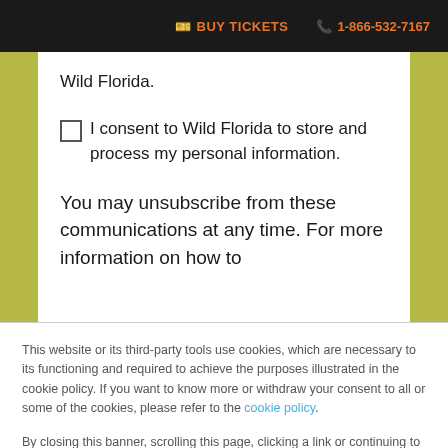BUY TICKETS  1-866-532-7167
Wild Florida.
I consent to Wild Florida to store and process my personal information.
You may unsubscribe from these communications at any time. For more information on how to
This website or its third-party tools use cookies, which are necessary to its functioning and required to achieve the purposes illustrated in the cookie policy. If you want to know more or withdraw your consent to all or some of the cookies, please refer to the cookie policy.
By closing this banner, scrolling this page, clicking a link or continuing to browse otherwise, you agree to the use of cookies.